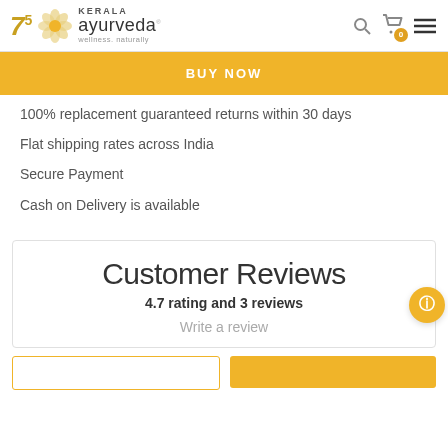Kerala Ayurveda - wellness. naturally
BUY NOW
100% replacement guaranteed returns within 30 days
Flat shipping rates across India
Secure Payment
Cash on Delivery is available
Customer Reviews
4.7 rating and 3 reviews
Write a review